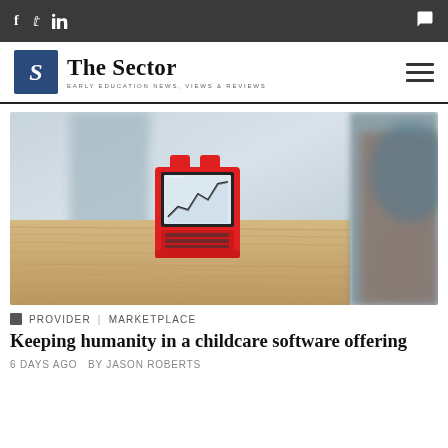f  Twitter  in  [comment icon]
[Figure (logo): The Sector logo - blue box with S, text reading The Sector, subtitle EARLY EDUCATION NEWS, VIEWS & REVIEWS]
[Figure (photo): A red LEGO-style toy computer/laptop figure with a graph on screen, sitting on wooden blocks, blurred background]
PROVIDER  |  MARKETPLACE
Keeping humanity in a childcare software offering
6 DAYS AGO  BY JASON ROBERTS